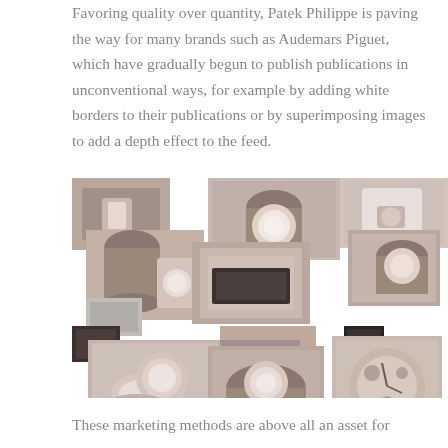Favoring quality over quantity, Patek Philippe is paving the way for many brands such as Audemars Piguet, which have gradually begun to publish publications in unconventional ways, for example by adding white borders to their publications or by superimposing images to add a depth effect to the feed.
[Figure (photo): A collage of luxury watch photography images arranged in a grid with overlapping/superimposed layout effect, showing watches on wrists and close-up product shots in muted earthy tones.]
These marketing methods are above all an asset for